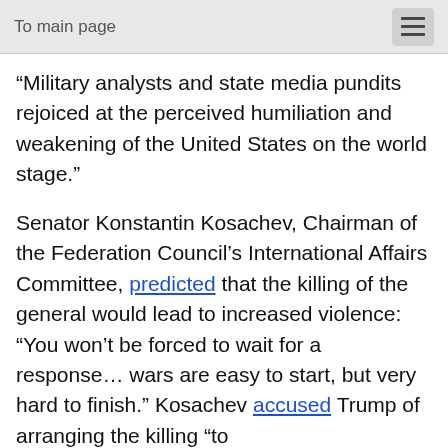To main page
“Military analysts and state media pundits rejoiced at the perceived humiliation and weakening of the United States on the world stage.”
Senator Konstantin Kosachev, Chairman of the Federation Council’s International Affairs Committee, predicted that the killing of the general would lead to increased violence: “You won’t be forced to wait for a response… wars are easy to start, but very hard to finish.” Kosachev accused Trump of arranging the killing “to